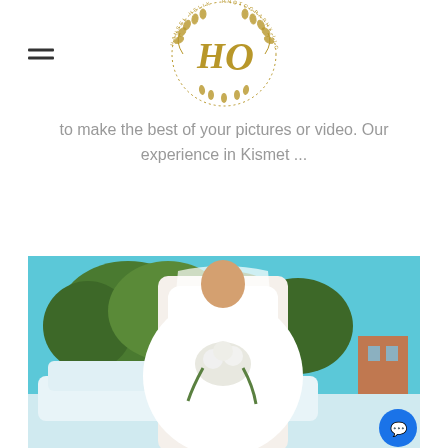[Figure (logo): HO monogram logo with laurel wreath circle, gold color — Hansel Helix Photography LLC]
to make the best of your pictures or video. Our experience in Kismet ...
[Figure (photo): Bride in white lace wedding dress holding a bouquet of white flowers and greenery, standing outside near a white car with trees and blue sky in background. A blue chat bubble icon appears in the lower right corner.]